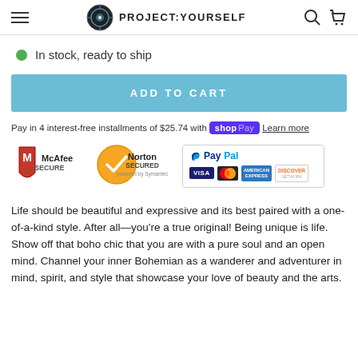PROJECT:YOURSELF
In stock, ready to ship
ADD TO CART
Pay in 4 interest-free installments of $25.74 with shop Pay  Learn more
[Figure (logo): McAfee SECURE and Norton SECURED powered by Symantec trust badges, alongside PayPal, VISA, MasterCard, American Express, and Discover payment icons]
Life should be beautiful and expressive and its best paired with a one-of-a-kind style. After all—you're a true original! Being unique is life. Show off that boho chic that you are with a pure soul and an open mind. Channel your inner Bohemian as a wanderer and adventurer in mind, spirit, and style that showcase your love of beauty and the arts.